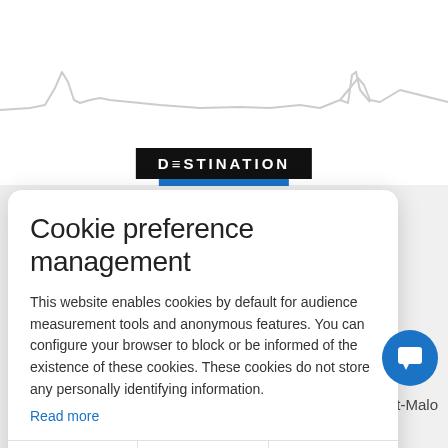[Figure (illustration): Light gray waveform / EKG-style line graph across the top of the page background]
[Figure (logo): DESTINATION logo badge in black with white text, with a blue bar underneath]
Cookie preference management
This website enables cookies by default for audience measurement tools and anonymous features. You can configure your browser to block or be informed of the existence of these cookies. These cookies do not store any personally identifying information.
Read more
No thanks
I choose
Ok for me
int-Malo
Contact us